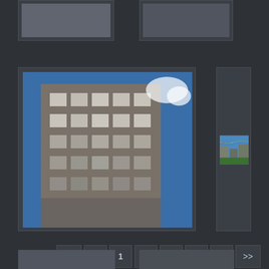[Figure (photo): Two photo thumbnails partially visible at top of page, dark background]
[Figure (photo): Left thumbnail showing a multi-story Soviet-era stone building photographed from below against blue sky]
[Figure (photo): Right thumbnail showing a street scene with decorative bunting/flags strung across buildings]
<< < 1 2 3 4 > >>
Havuts Tar Monastery: Day of Sacrifice. Armenia. Radka Rubilina, November 2015
[Figure (photo): Two photo thumbnails partially visible at bottom of page]